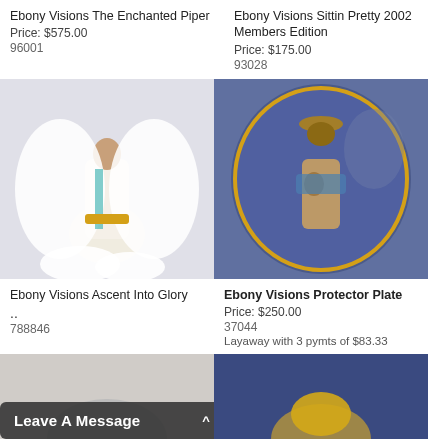Ebony Visions The Enchanted Piper
Price: $575.00
96001
Ebony Visions Sittin Pretty 2002 Members Edition
Price: $175.00
93028
[Figure (photo): Sculpture of an angel figure in white with gold and teal accents, standing on clouds]
[Figure (photo): Decorative oval plate with blue background showing a man in a wide-brimmed hat holding a baby]
Ebony Visions Ascent Into Glory
..
788846
Ebony Visions Protector Plate
Price: $250.00
37044
Layaway with 3 pymts of $83.33
[Figure (photo): Bottom portion of product image, partially visible]
[Figure (photo): Bottom portion of blue-background product image, partially visible]